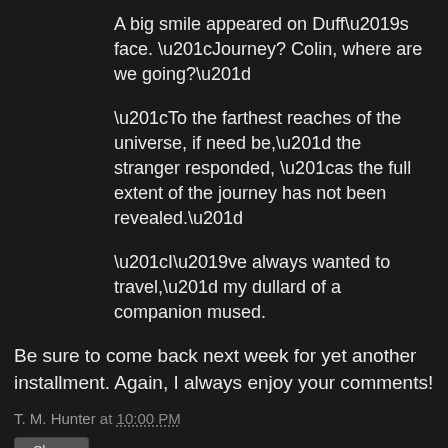A big smile appeared on Duff’s face. “Journey? Colin, where are we going?”
“To the farthest reaches of the universe, if need be,” the stranger responded, “as the full extent of the journey has not been revealed.”
“I’ve always wanted to travel,” my dullard of a companion mused.
Be sure to come back next week for yet another installment. Again, I always enjoy your comments!
T. M. Hunter at 10:00 PM
Share
6 comments:
JC Cassels 9:23 AM, August 18, 2012